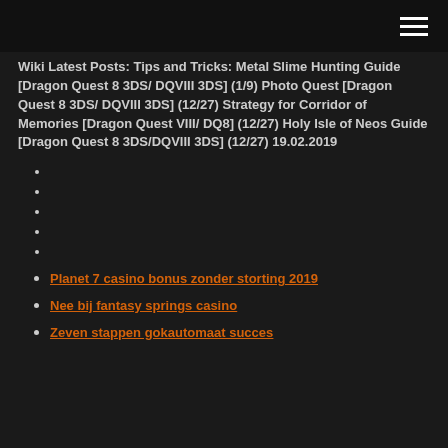Wiki Latest Posts: Tips and Tricks: Metal Slime Hunting Guide [Dragon Quest 8 3DS/ DQVIII 3DS] (1/9) Photo Quest [Dragon Quest 8 3DS/ DQVIII 3DS] (12/27) Strategy for Corridor of Memories [Dragon Quest VIII/ DQ8] (12/27) Holy Isle of Neos Guide [Dragon Quest 8 3DS/DQVIII 3DS] (12/27) 19.02.2019
Planet 7 casino bonus zonder storting 2019
Nee bij fantasy springs casino
Zeven stappen gokautomaat succes